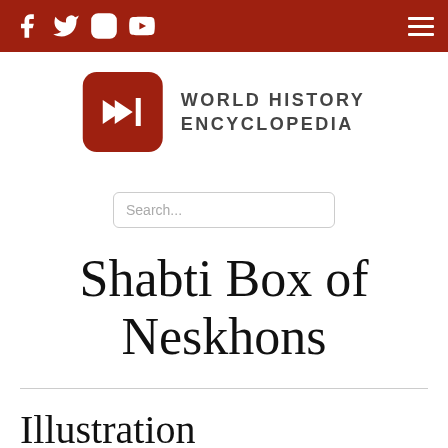World History Encyclopedia — navigation bar with social icons and menu
[Figure (logo): World History Encyclopedia logo: red rounded square with white double-arrow and vertical bar symbol, beside text WORLD HISTORY ENCYCLOPEDIA in grey uppercase sans-serif]
Search...
Shabti Box of Neskhons
Illustration